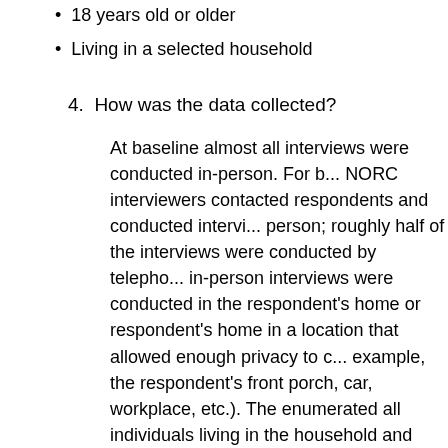18 years old or older
Living in a selected household
4. How was the data collected?
At baseline almost all interviews were conducted in-person. For b... NORC interviewers contacted respondents and conducted intervi... person; roughly half of the interviews were conducted by telepho... in-person interviews were conducted in the respondent's home or respondent's home in a location that allowed enough privacy to c... example, the respondent's front porch, car, workplace, etc.). The enumerated all individuals living in the household and then scient... (age 18 or older) to act as the respondent and answer the survey then read questions from a series of paper-and-pencil questionna... respondent's answers. Interviews typically lasted 50 minutes.
5. Who made up the interviewing team?
Roughly 30 NORC field interviewers per site were recruited for ea... Preference was given to those who lived in or near the target su...